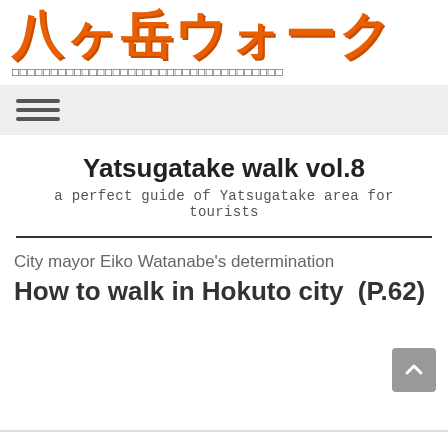八ヶ岳ウォーク
□□□□□□□□□□□□□□□□□□□□□□□□□□□□□□□□□□□
[Figure (other): Hamburger menu navigation icon with three horizontal lines]
Yatsugatake walk vol.8
a perfect guide of Yatsugatake area for tourists
City mayor Eiko Watanabe's determination
How to walk in Hokuto city  (P.62)